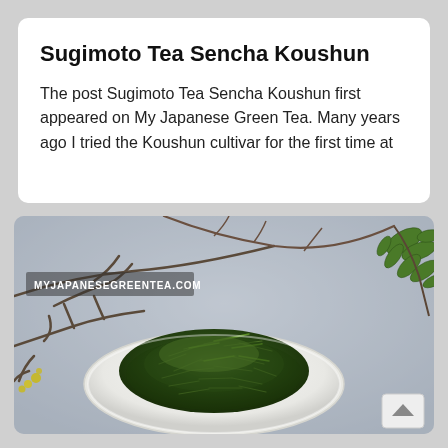Sugimoto Tea Sencha Koushun
The post Sugimoto Tea Sencha Koushun first appeared on My Japanese Green Tea. Many years ago I tried the Koushun cultivar for the first time at
[Figure (photo): A white plate piled with dark green loose-leaf sencha tea leaves, set against a light grey background with bare tree branches and green leafy branches. A watermark reads MYJAPANESEGREENTEA.COM. A scroll-up button is visible in the bottom right corner.]